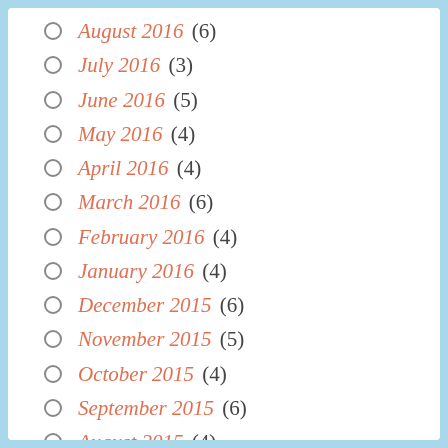August 2016 (6)
July 2016 (3)
June 2016 (5)
May 2016 (4)
April 2016 (4)
March 2016 (6)
February 2016 (4)
January 2016 (4)
December 2015 (6)
November 2015 (5)
October 2015 (4)
September 2015 (6)
August 2015 (4)
July 2015 (4)
June 2015 (5)